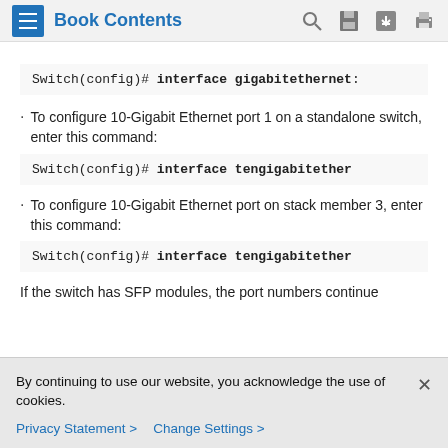Book Contents
Switch(config)# interface gigabitethernet:
To configure 10-Gigabit Ethernet port 1 on a standalone switch, enter this command:
Switch(config)# interface tengigabitether
To configure 10-Gigabit Ethernet port on stack member 3, enter this command:
Switch(config)# interface tengigabitether
If the switch has SFP modules, the port numbers continue
By continuing to use our website, you acknowledge the use of cookies.
Privacy Statement > Change Settings >